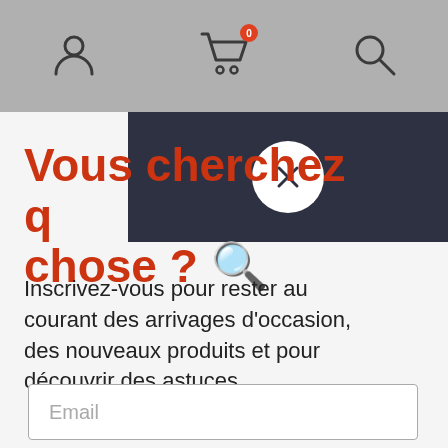Navigation header with user icon, shopping cart (0 items), and search icon
Vous cherchez quelque chose ? 🔍
Inscrivez-vous pour rester au courant des arrivages d'occasion, des nouveaux produits et pour découvrir des astuces.
Email
S'inscrire